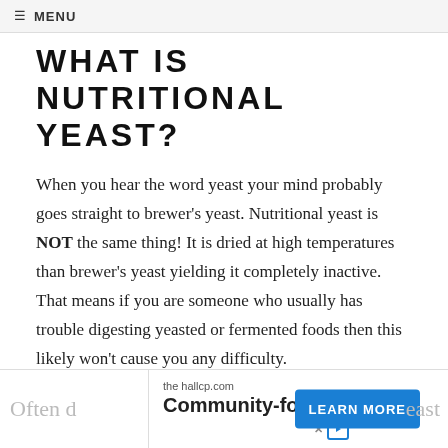☰ MENU
WHAT IS NUTRITIONAL YEAST?
When you hear the word yeast your mind probably goes straight to brewer's yeast. Nutritional yeast is NOT the same thing! It is dried at high temperatures than brewer's yeast yielding it completely inactive. That means if you are someone who usually has trouble digesting yeasted or fermented foods then this likely won't cause you any difficulty.
WHAT DOES IT TASTE LIKE?
[Figure (screenshot): Advertisement banner: thehallcp.com Community-focused with LEARN MORE button and X/play badge]
Often d... east